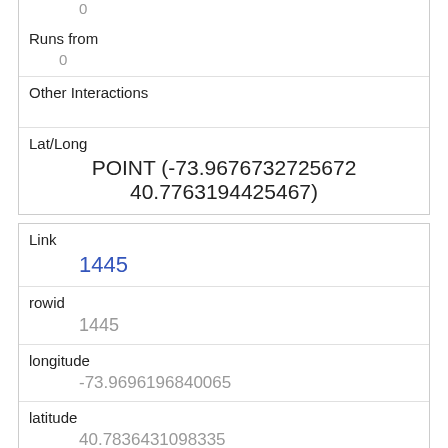0
Runs from
0
Other Interactions
Lat/Long
POINT (-73.9676732725672 40.7763194425467)
Link
1445
rowid
1445
longitude
-73.9696196840065
latitude
40.7836431098335
Unique Squirrel ID
21A-AM-1019-09
Hectare
21A
Shift